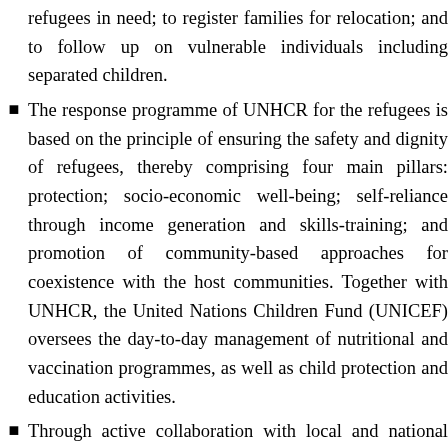refugees in need; to register families for relocation; and to follow up on vulnerable individuals including separated children.
The response programme of UNHCR for the refugees is based on the principle of ensuring the safety and dignity of refugees, thereby comprising four main pillars: protection; socio-economic well-being; self-reliance through income generation and skills-training; and promotion of community-based approaches for coexistence with the host communities. Together with UNHCR, the United Nations Children Fund (UNICEF) oversees the day-to-day management of nutritional and vaccination programmes, as well as child protection and education activities.
Through active collaboration with local and national authorities, host communities, and the refugees themselves, UNHCR and its partners are working to protect the refugee population, whilst at the same time supporting capacity